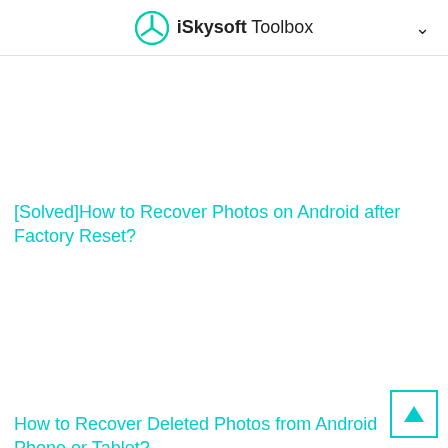iSkysoft Toolbox
[Solved]How to Recover Photos on Android after Factory Reset?
How to Recover Deleted Photos from Android Phone or Tablet?
[Figure (screenshot): Scroll-to-top button with upward triangle arrow, teal border on white background]